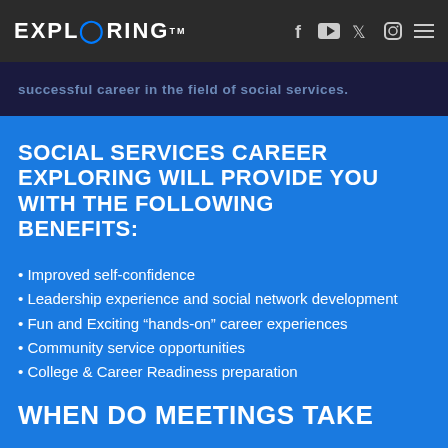EXPLORING™
successful career in the field of Social Services.
SOCIAL SERVICES CAREER EXPLORING WILL PROVIDE YOU WITH THE FOLLOWING BENEFITS:
Improved self-confidence
Leadership experience and social network development
Fun and Exciting “hands-on” career experiences
Community service opportunities
College & Career Readiness preparation
WHEN DO MEETINGS TAKE